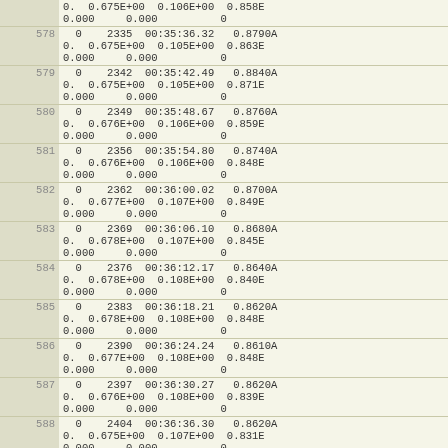| row | data |
| --- | --- |
| (partial) | 0.  0.675E+00  0.106E+00  0.858E
0.000     0.000          0 |
| 578 | 0    2335  00:35:36.32   0.8790A
0.  0.675E+00  0.105E+00  0.863E
0.000     0.000          0 |
| 579 | 0    2342  00:35:42.49   0.8840A
0.  0.675E+00  0.105E+00  0.871E
0.000     0.000          0 |
| 580 | 0    2349  00:35:48.67   0.8760A
0.  0.676E+00  0.106E+00  0.859E
0.000     0.000          0 |
| 581 | 0    2356  00:35:54.80   0.8740A
0.  0.676E+00  0.106E+00  0.848E
0.000     0.000          0 |
| 582 | 0    2362  00:36:00.02   0.8700A
0.  0.677E+00  0.107E+00  0.849E
0.000     0.000          0 |
| 583 | 0    2369  00:36:06.10   0.8680A
0.  0.678E+00  0.107E+00  0.845E
0.000     0.000          0 |
| 584 | 0    2376  00:36:12.17   0.8640A
0.  0.678E+00  0.108E+00  0.840E
0.000     0.000          0 |
| 585 | 0    2383  00:36:18.21   0.8620A
0.  0.678E+00  0.108E+00  0.848E
0.000     0.000          0 |
| 586 | 0    2390  00:36:24.24   0.8610A
0.  0.677E+00  0.108E+00  0.848E
0.000     0.000          0 |
| 587 | 0    2397  00:36:30.27   0.8620A
0.  0.676E+00  0.108E+00  0.839E
0.000     0.000          0 |
| 588 | 0    2404  00:36:36.30   0.8620A
0.  0.675E+00  0.107E+00  0.831E
0.000     0.000          0 |
| 589 | 0    2411  00:36:42.34   0.8640A |